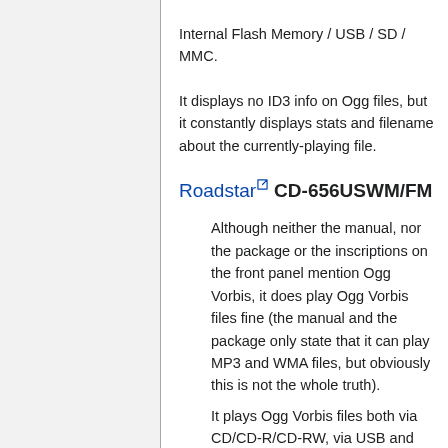Internal Flash Memory / USB / SD / MMC.
It displays no ID3 info on Ogg files, but it constantly displays stats and filename about the currently-playing file.
Roadstar CD-656USWM/FM
Although neither the manual, nor the package or the inscriptions on the front panel mention Ogg Vorbis, it does play Ogg Vorbis files fine (the manual and the package only state that it can play MP3 and WMA files, but obviously this is not the whole truth).
It plays Ogg Vorbis files both via CD/CD-R/CD-RW, via USB and via SD/MMC. It only displays the filename, the bitrate and the